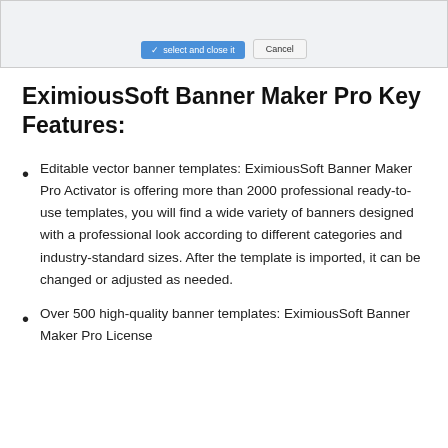[Figure (screenshot): Cropped screenshot of a software dialog showing a 'Select and close it' button and a 'Cancel' button at the bottom]
EximiousSoft Banner Maker Pro Key Features:
Editable vector banner templates: EximiousSoft Banner Maker Pro Activator is offering more than 2000 professional ready-to-use templates, you will find a wide variety of banners designed with a professional look according to different categories and industry-standard sizes. After the template is imported, it can be changed or adjusted as needed.
Over 500 high-quality banner templates: EximiousSoft Banner Maker Pro License